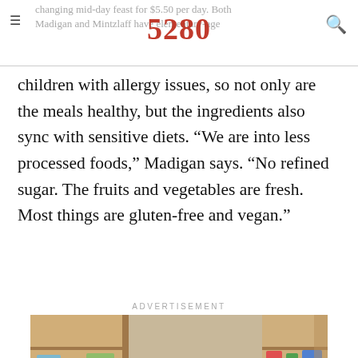changing mid-day feast for $5.50 per day. Both Madigan and Mintzlaff have elementary-age
children with allergy issues, so not only are the meals healthy, but the ingredients also sync with sensitive diets. “We are into less processed foods,” Madigan says. “No refined sugar. The fruits and vegetables are fresh. Most things are gluten-free and vegan.”
ADVERTISEMENT
[Figure (photo): Two elementary-age children working together on the floor of a Montessori classroom, with wooden shelving and learning materials in the background. A Montessori Academy badge/seal is visible in the bottom right corner.]